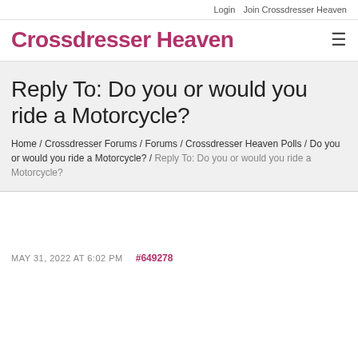Login  Join Crossdresser Heaven
Crossdresser Heaven
Reply To: Do you or would you ride a Motorcycle?
Home / Crossdresser Forums / Forums / Crossdresser Heaven Polls / Do you or would you ride a Motorcycle? / Reply To: Do you or would you ride a Motorcycle?
MAY 31, 2022 AT 6:02 PM  #649278